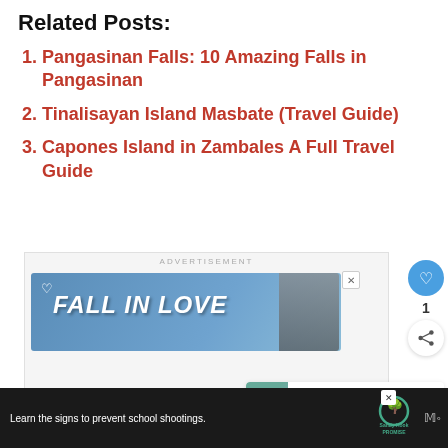Related Posts:
Pangasinan Falls: 10 Amazing Falls in Pangasinan
Tinalisayan Island Masbate (Travel Guide)
Capones Island in Zambales A Full Travel Guide
[Figure (screenshot): Advertisement banner showing 'FALL IN LOVE' text with a dog image, advertisement label at top, and a close (X) button]
[Figure (infographic): What's Next widget showing thumbnail and 'Best Bohol Tourist Spot...' text with blue arrow]
[Figure (infographic): Bottom black bar advertisement: 'Learn the signs to prevent school shootings.' with Sandy Hook Promise logo and MRC logo]